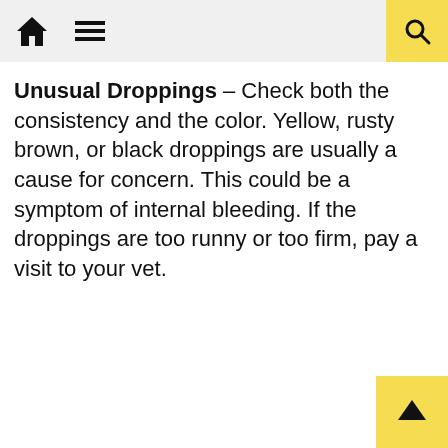Navigation header with home, menu, and search icons
Unusual Droppings – Check both the consistency and the color. Yellow, rusty brown, or black droppings are usually a cause for concern. This could be a symptom of internal bleeding. If the droppings are too runny or too firm, pay a visit to your vet.